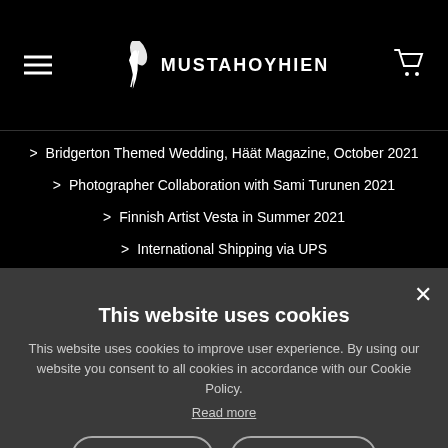[Figure (logo): Mustahoyhien brand logo with feather icon and text MUSTAHOYHIEN on black navbar, with hamburger menu icon on left and cart icon on right]
> Bridgerton Themed Wedding, Häät Magazine, October 2021
> Photographer Collaboration with Sami Turunen 2021
> Finnish Artist Vesta in Summer 2021
> International Shipping via UPS
This website uses cookies
This website uses cookies to improve user experience. By using our website you consent to all cookies in accordance with our Cookie Policy.
Read more
ACCEPT ALL
DECLINE ALL
⚙ SHOW DETAILS
POWERED BY COOKIESCRIPT